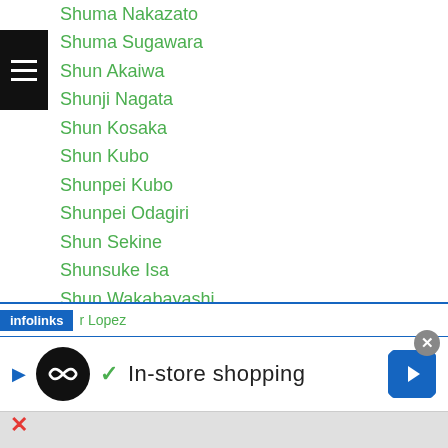Shuma Nakazato
Shuma Sugawara
Shun Akaiwa
Shunji Nagata
Shun Kosaka
Shun Kubo
Shunpei Kubo
Shunpei Odagiri
Shun Sekine
Shunsuke Isa
Shun Wakabayashi
Shusaku Fujinaka
Shu Utsuki
Shuya Masaki
Shyngyskhan Tazhibay
Signing Ceremony
r Lopez
[Figure (screenshot): Infolinks advertisement banner with 'In-store shopping' text, play button, logo, checkmark, and navigation arrow]